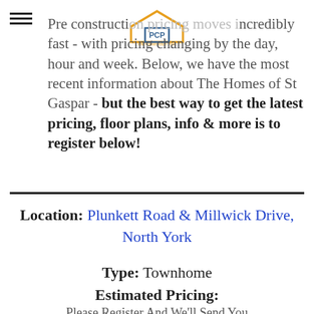[Figure (logo): Pre Construction Pros logo — house icon in gold/teal with company name below]
Pre construction pricing moves incredibly fast - with pricing changing by the day, hour and week. Below, we have the most recent information about The Homes of St Gaspar - but the best way to get the latest pricing, floor plans, info & more is to register below!
Location: Plunkett Road & Millwick Drive, North York
Type: Townhome
Estimated Pricing:
Please Register And We'll Send You